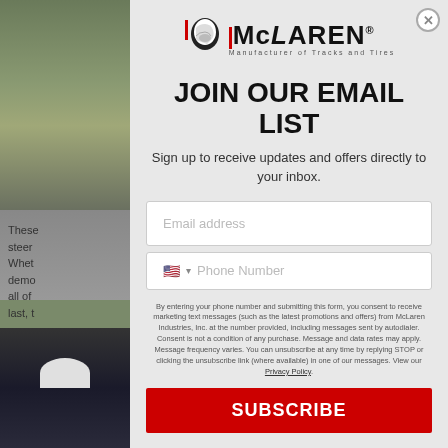[Figure (photo): Outdoor field/grass background photo on the left side of the page]
These steer Whet demo all of last, t
[Figure (logo): McLaren Manufacturer of Tracks and Tires logo]
JOIN OUR EMAIL LIST
Sign up to receive updates and offers directly to your inbox.
Email address
Phone Number
By entering your phone number and submitting this form, you consent to receive marketing text messages (such as the latest promotions and offers) from McLaren Industries, Inc. at the number provided, including messages sent by autodialer. Consent is not a condition of any purchase. Message and data rates may apply. Message frequency varies. You can unsubscribe at any time by replying STOP or clicking the unsubscribe link (where available) in one of our messages. View our Privacy Policy.
SUBSCRIBE